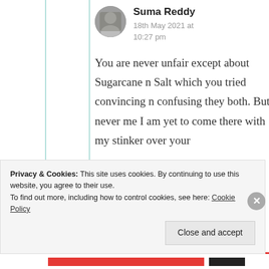Suma Reddy
18th May 2021 at 10:27 pm
You are never unfair except about Sugarcane n Salt which you tried convincing n confusing they both. But never me I am yet to come there with my stinker over your
Privacy & Cookies: This site uses cookies. By continuing to use this website, you agree to their use.
To find out more, including how to control cookies, see here: Cookie Policy
Close and accept